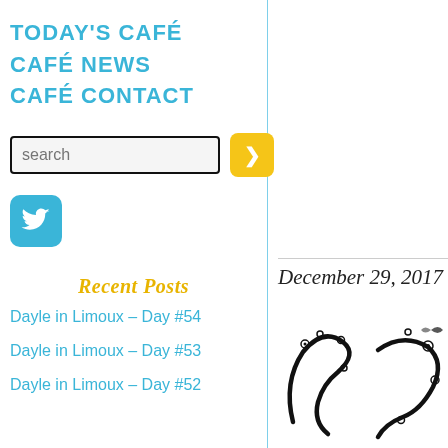TODAY'S CAFÉ
CAFÉ NEWS
CAFÉ CONTACT
search
[Figure (logo): Twitter bird icon button, teal/cyan rounded square]
Recent Posts
Dayle in Limoux – Day #54
Dayle in Limoux – Day #53
Dayle in Limoux – Day #52
December 29, 2017
[Figure (illustration): Decorative floral/swirl number or letter design in black on white, partially visible]